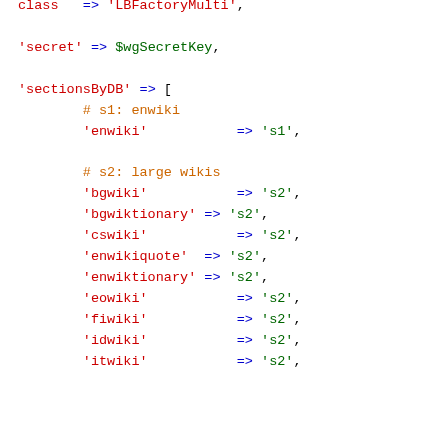class => 'LBFactoryMulti';

'secret' => $wgSecretKey,

'sectionsByDB' => [
        # s1: enwiki
        'enwiki'           => 's1',

        # s2: large wikis
        'bgwiki'           => 's2',
        'bgwiktionary' => 's2',
        'cswiki'           => 's2',
        'enwikiquote'  => 's2',
        'enwiktionary' => 's2',
        'eowiki'           => 's2',
        'fiwiki'           => 's2',
        'idwiki'           => 's2',
        'itwiki'           => 's2',